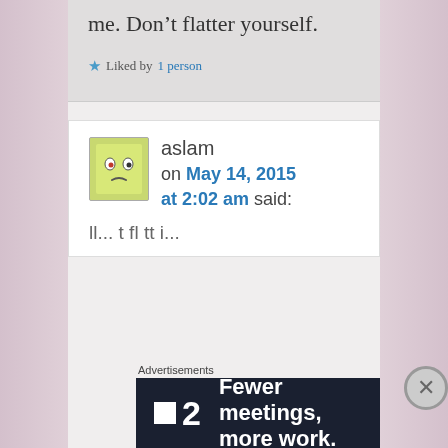me. Don't flatter yourself.
★ Liked by 1 person
aslam on May 14, 2015 at 2:02 am said:
Advertisements
[Figure (screenshot): Advertisement banner: logo with square and '2', text 'Fewer meetings, more work.']